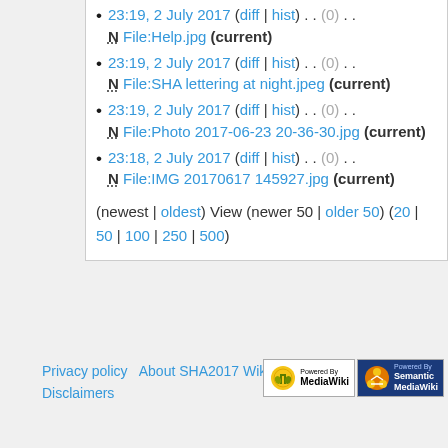23:19, 2 July 2017 (diff | hist) . . (0) . . N File:Help.jpg (current)
23:19, 2 July 2017 (diff | hist) . . (0) . . N File:SHA lettering at night.jpeg (current)
23:19, 2 July 2017 (diff | hist) . . (0) . . N File:Photo 2017-06-23 20-36-30.jpg (current)
23:18, 2 July 2017 (diff | hist) . . (0) . . N File:IMG 20170617 145927.jpg (current)
(newest | oldest) View (newer 50 | older 50) (20 | 50 | 100 | 250 | 500)
Privacy policy   About SHA2017 Wiki   Disclaimers